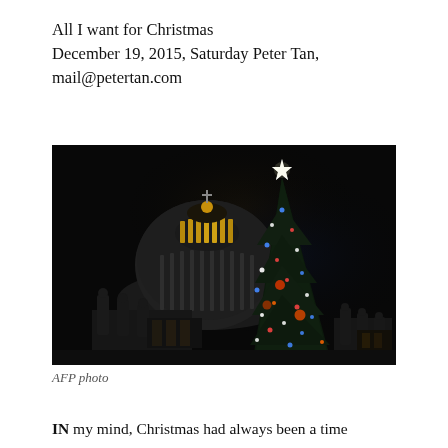All I want for Christmas
December 19, 2015, Saturday Peter Tan, mail@petertan.com
[Figure (photo): Night photograph of St. Peter's Basilica dome in Vatican City with an illuminated Christmas tree in the foreground, featuring a large star on top and colorful ornaments. Statues visible at the base.]
AFP photo
IN my mind, Christmas had always been a time